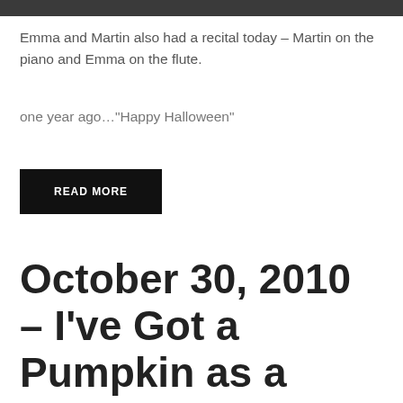[Figure (photo): Dark/dimly lit photo strip at top of page]
Emma and Martin also had a recital today – Martin on the piano and Emma on the flute.
one year ago…“Happy Halloween”
READ MORE
October 30, 2010 – I’ve Got a Pumpkin as a Head